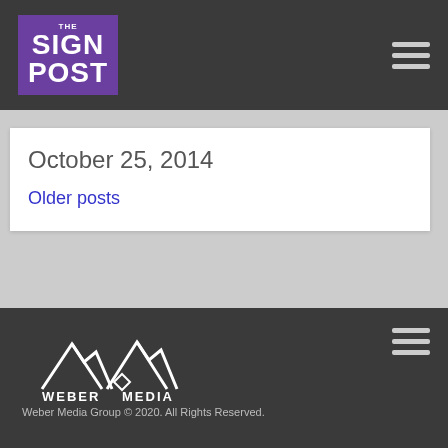THE SIGN POST
October 25, 2014
Older posts
Weber Media Group © 2020. All Rights Reserved.